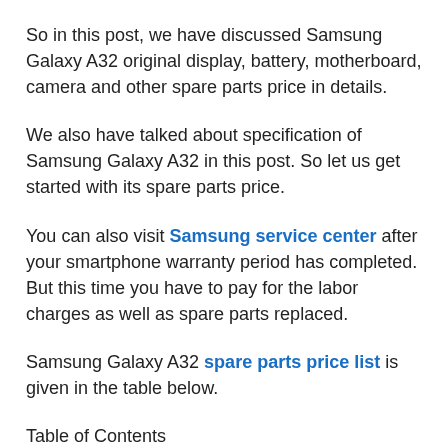So in this post, we have discussed Samsung Galaxy A32 original display, battery, motherboard, camera and other spare parts price in details.
We also have talked about specification of Samsung Galaxy A32 in this post. So let us get started with its spare parts price.
You can also visit Samsung service center after your smartphone warranty period has completed. But this time you have to pay for the labor charges as well as spare parts replaced.
Samsung Galaxy A32 spare parts price list is given in the table below.
Table of Contents
Samsung A32 screen repair cost